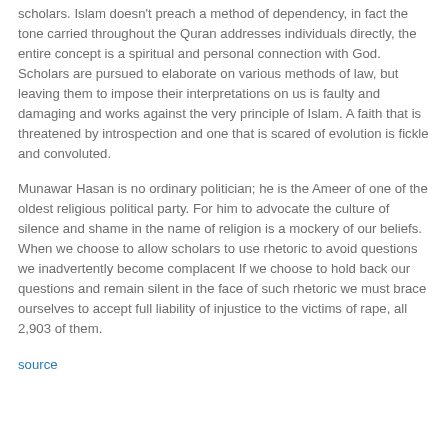scholars. Islam doesn't preach a method of dependency, in fact the tone carried throughout the Quran addresses individuals directly, the entire concept is a spiritual and personal connection with God. Scholars are pursued to elaborate on various methods of law, but leaving them to impose their interpretations on us is faulty and damaging and works against the very principle of Islam. A faith that is threatened by introspection and one that is scared of evolution is fickle and convoluted.
Munawar Hasan is no ordinary politician; he is the Ameer of one of the oldest religious political party. For him to advocate the culture of silence and shame in the name of religion is a mockery of our beliefs. When we choose to allow scholars to use rhetoric to avoid questions we inadvertently become complacent If we choose to hold back our questions and remain silent in the face of such rhetoric we must brace ourselves to accept full liability of injustice to the victims of rape, all 2,903 of them.
source